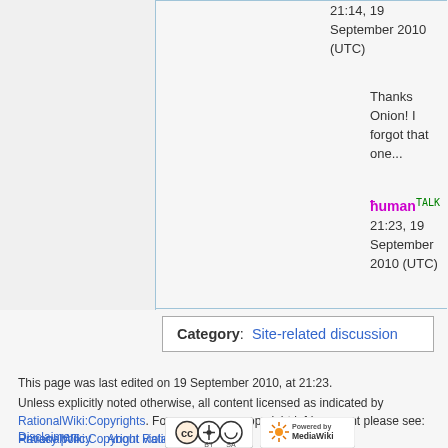21:14, 19 September 2010 (UTC)
Thanks Onion! I forgot that one...
ħuman TALK 21:23, 19 September 2010 (UTC)
Category: Site-related discussion
This page was last edited on 19 September 2010, at 21:23.
Unless explicitly noted otherwise, all content licensed as indicated by RationalWiki:Copyrights. For concerns on copyright infringement please see: RationalWiki:Copyright violations
Privacy policy   About RationalWiki
Disclaimers